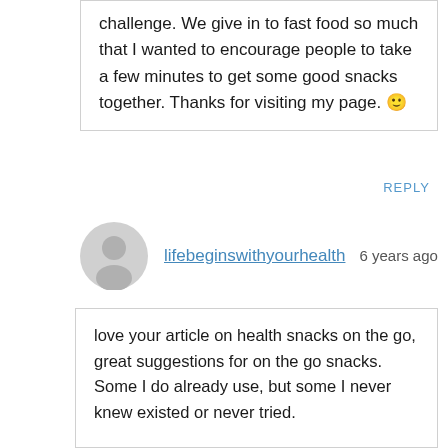challenge. We give in to fast food so much that I wanted to encourage people to take a few minutes to get some good snacks together. Thanks for visiting my page. 🙂
REPLY
lifebeginswithyourhealth  6 years ago
love your article on health snacks on the go, great suggestions for on the go snacks. Some I do already use, but some I never knew existed or never tried.

I eat small portions so i must eat often, this article is a great asset for me giving me more options for on the go snacks since I eat often.